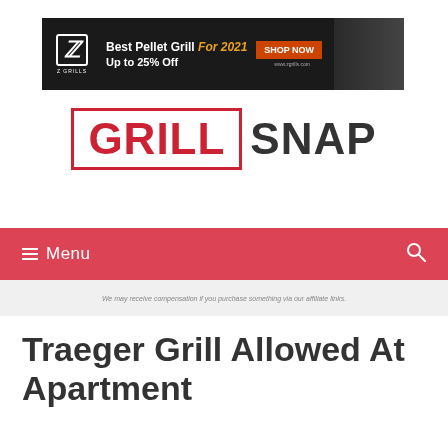[Figure (other): Z Grills advertisement banner: Best Pellet Grill For 2021, Up to 25% Off, Shop Now button, www.zgrills.com]
GRILL SNAP
Menu
We may receive compensation if you purchase something via our affiliate links.
Traeger Grill Allowed At Apartment